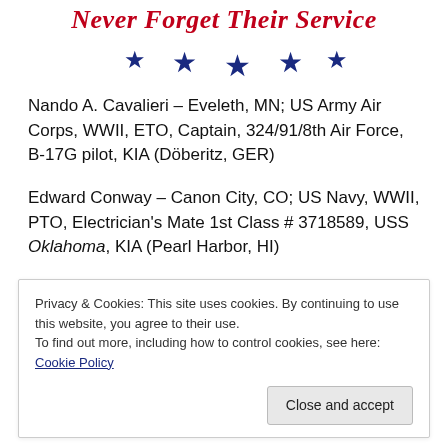[Figure (illustration): Partial header graphic with red italic cursive text 'Never Forget Their Service' and a row of dark blue five-pointed stars below it]
Nando A. Cavalieri – Eveleth, MN; US Army Air Corps, WWII, ETO, Captain, 324/91/8th Air Force, B-17G pilot, KIA (Döberitz, GER)
Edward Conway – Canon City, CO; US Navy, WWII, PTO, Electrician's Mate 1st Class # 3718589, USS Oklahoma, KIA (Pearl Harbor, HI)
Don D. Dowler Jr. – Clarinda, IA; US Army, Korea, Pfc., Co
Privacy & Cookies: This site uses cookies. By continuing to use this website, you agree to their use.
To find out more, including how to control cookies, see here: Cookie Policy